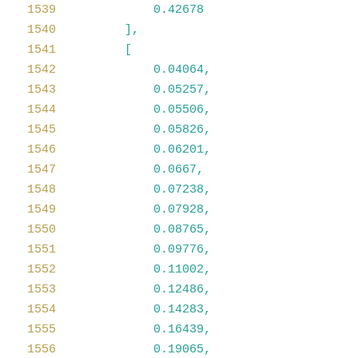Code listing lines 1539–1560 showing array data values
1539    0.42678
1540    ],
1541    [
1542        0.04064,
1543        0.05257,
1544        0.05506,
1545        0.05826,
1546        0.06201,
1547        0.0667,
1548        0.07238,
1549        0.07928,
1550        0.08765,
1551        0.09776,
1552        0.11002,
1553        0.12486,
1554        0.14283,
1555        0.16439,
1556        0.19065,
1557        0.22224,
1558        0.26091,
1559        0.30664,
1560        0.3619